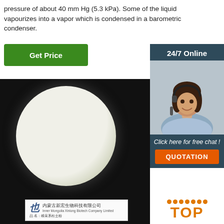pressure of about 40 mm Hg (5.3 kPa). Some of the liquid vapourizes into a vapor which is condensed in a barometric condenser.
[Figure (other): Green 'Get Price' button on the left and a sidebar widget on the right showing '24/7 Online' with a customer service agent photo, 'Click here for free chat!' text, and an orange 'QUOTATION' button.]
[Figure (photo): A photograph of white powder in a petri dish on a black background, with a company label card showing Inner Mongolia Xinlong Biotech Company Limited logo and Chinese text.]